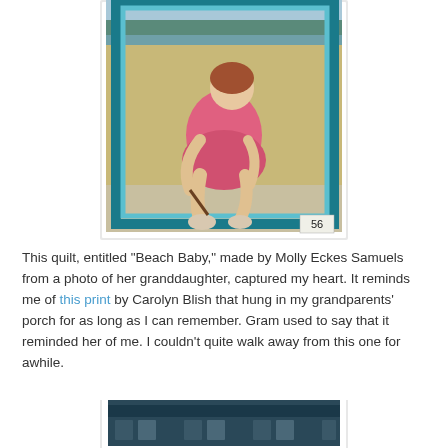[Figure (photo): A quilt artwork showing a young girl crouching on a sandy beach, wearing a pink dress, drawing in the sand with a stick. The quilt has teal/blue border framing. Number '56' visible in bottom right corner.]
This quilt, entitled "Beach Baby," made by Molly Eckes Samuels from a photo of her granddaughter, captured my heart.  It reminds me of this print by Carolyn Blish that hung in my grandparents' porch for as long as I can remember.  Gram used to say that it reminded her of me.  I couldn't quite walk away from this one for awhile.
[Figure (photo): Partial view of another quilt, predominantly dark teal/blue tones with decorative patterns, partially visible at the bottom of the page.]